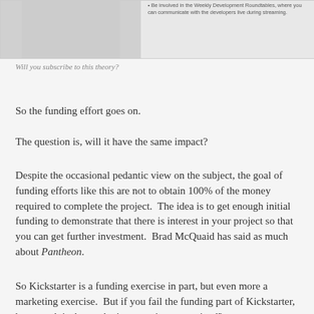[Figure (illustration): Partial image strip at top of page showing a figure/character on the left side and a bullet list on the right side mentioning Weekly Development Roundtables and communicating with developers live during streaming.]
Will you subscribe to this theory?
So the funding effort goes on.
The question is, will it have the same impact?
Despite the occasional pedantic view on the subject, the goal of funding efforts like this are not to obtain 100% of the money required to complete the project.  The idea is to get enough initial funding to demonstrate that there is interest in your project so that you can get further investment.  Brad McQuaid has said as much about Pantheon.
So Kickstarter is a funding exercise in part, but even more a marketing exercise.  But if you fail the funding part of Kickstarter, how much is the marketing exercise constrained?